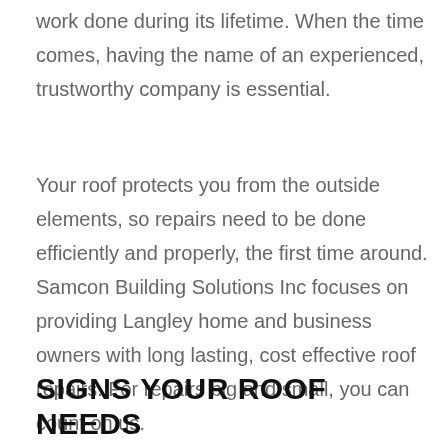work done during its lifetime. When the time comes, having the name of an experienced, trustworthy company is essential.
Your roof protects you from the outside elements, so repairs need to be done efficiently and properly, the first time around. Samcon Building Solutions Inc focuses on providing Langley home and business owners with long lasting, cost effective roof repairs. For repairs big and small, you can count on us.
SIGNS YOUR ROOF NEEDS REPAIRS